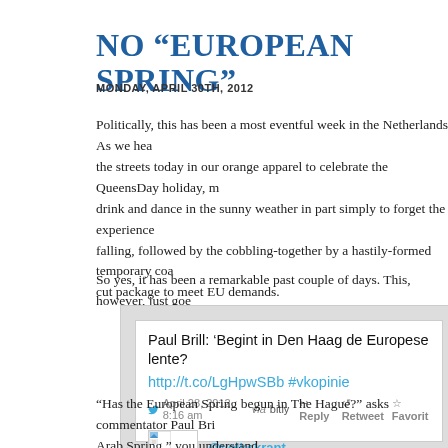NO “EUROPEAN SPRING”
MONDAY, APRIL 30TH, 2012
Politically, this has been a most eventful week in the Netherlands. As we head to the streets today in our orange apparel to celebrate the QueensDay holiday, many of us drink and dance in the sunny weather in part simply to forget the experience of a cabinet falling, followed by the cobbling-together by a hastily-formed temporary coalition of a cut package to meet EU demands.
So yes, it has been a remarkable past couple of days. This, however, just goe
[Figure (screenshot): Tweet by @volkskrant: Paul Brill: ‘Begint in Den Haag de Europese lente? http://t.co/LgHpwSBb #vkopinie’ — April 28, 2012 8:16 am via bitly. Reply, Retweet, Favorit. Profile: @volkskrant, De Volkskrant.]
“Has the European Spring begun in The Hague?” asks commentator Paul Bri Arab Spring,” you understand.